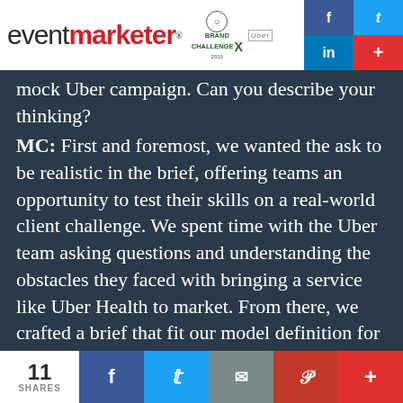eventmarketer® BRAND X CHALLENGE 2019 Uber
mock Uber campaign. Can you describe your thinking?
MC: First and foremost, we wanted the ask to be realistic in the brief, offering teams an opportunity to test their skills on a real-world client challenge. We spent time with the Uber team asking questions and understanding the obstacles they faced with bringing a service like Uber Health to market. From there, we crafted a brief that fit our model definition for a successful experiential marketing campaign, pushing teams to think through the entire experience leading up to the event, how to tailor their messaging to work for multiple audiences and
11 SHARES